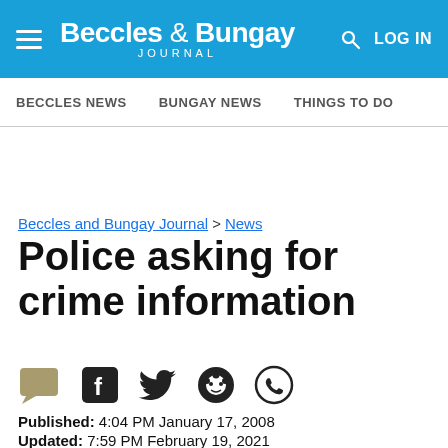Beccles & Bungay Journal | LOG IN
BECCLES NEWS | BUNGAY NEWS | THINGS TO DO
Beccles and Bungay Journal > News
Police asking for crime information
Published: 4:04 PM January 17, 2008
Updated: 7:59 PM February 19, 2021
POLICE are keen that those after stolen or recovered goods...